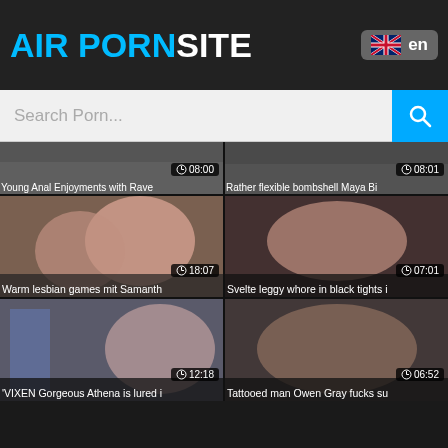AIR PORNSITE
Search Porn...
[Figure (screenshot): Video thumbnail grid showing adult video thumbnails with durations and titles. Top partial row: 'Young Anal Enjoyments with Rave' (08:00), 'Rather flexible bombshell Maya Bi' (08:01). Second row: 'Warm lesbian games mit Samanth' (18:07), 'Svelte leggy whore in black tights' (07:01). Third row: 'VIXEN Gorgeous Athena is lured i' (12:18), 'Tattooed man Owen Gray fucks su' (06:52).]